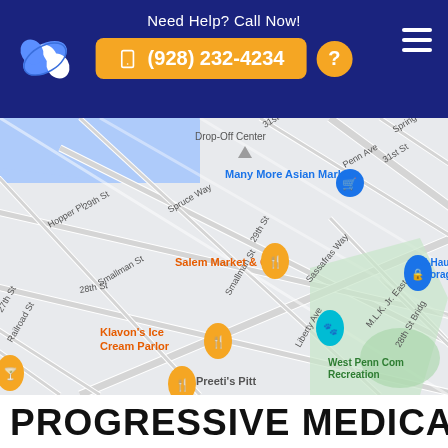Need Help? Call Now! (928) 232-4234
[Figure (map): Google Maps screenshot showing street map of Pittsburgh area with markers for: Many More Asian Market, Salem Market & Grill, U-Haul Moving Storage of Pittsburgh, Klavon's Ice Cream Parlor, Preeti's Pitt, and West Penn Community Recreation. Streets visible include Smallman St, 29th St, 28th St, 27th St, Hopper Pl, Spruce Way, Liberty Ave, Penn Ave, Sassafras Way, M.L.K. Jr. East Blvd, 31st St Bridge, Spring Way, Railroad St.]
PROGRESSIVE MEDICAL